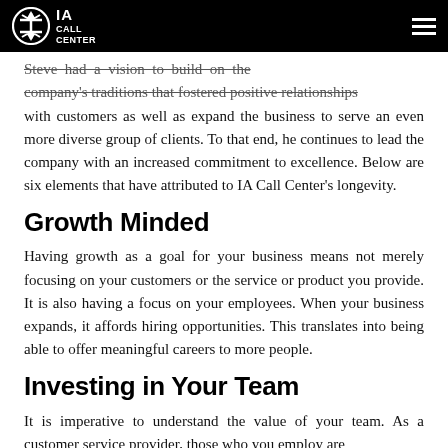IA Call Center
Steve had a vision to build on the company's traditions that fostered positive relationships with customers as well as expand the business to serve an even more diverse group of clients. To that end, he continues to lead the company with an increased commitment to excellence. Below are six elements that have attributed to IA Call Center's longevity.
Growth Minded
Having growth as a goal for your business means not merely focusing on your customers or the service or product you provide. It is also having a focus on your employees. When your business expands, it affords hiring opportunities. This translates into being able to offer meaningful careers to more people.
Investing in Your Team
It is imperative to understand the value of your team. As a customer service provider, those who you employ are the facilitators of your foundation. Giving